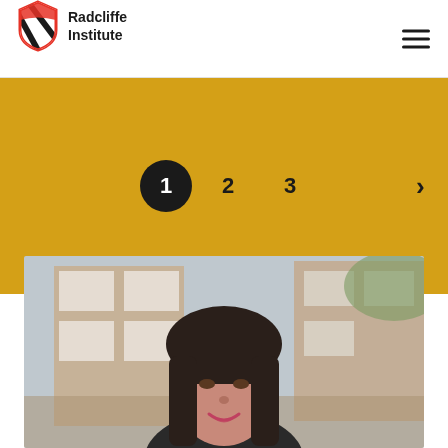Radcliffe Institute
[Figure (infographic): Pagination widget on gold background showing page 1 (active, filled black circle), page 2, page 3, and a next arrow (>) on golden yellow background]
[Figure (photo): Portrait photograph of a woman with dark hair and bangs, smiling, photographed outdoors in front of a brick building with blurred background]